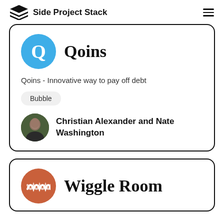Side Project Stack
Qoins
Qoins - Innovative way to pay off debt
Bubble
Christian Alexander and Nate Washington
Wiggle Room